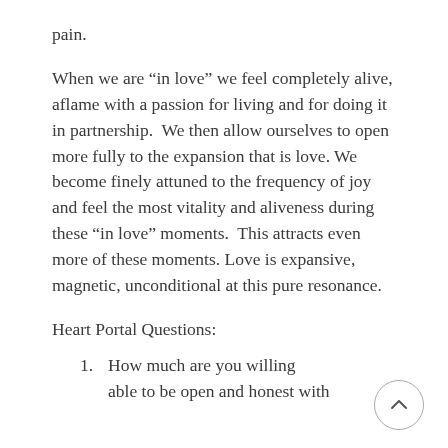pain.
When we are “in love” we feel completely alive, aflame with a passion for living and for doing it in partnership.  We then allow ourselves to open more fully to the expansion that is love. We become finely attuned to the frequency of joy and feel the most vitality and aliveness during these “in love” moments.  This attracts even more of these moments. Love is expansive, magnetic, unconditional at this pure resonance.
Heart Portal Questions:
1. How much are you willing able to be open and honest with